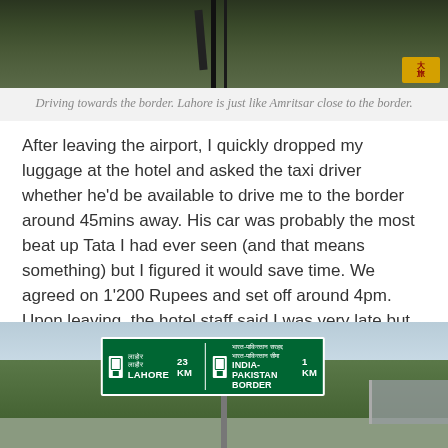[Figure (photo): Photo of road/border area with a pole or barrier, taken while driving towards the border. A small orange logo badge is visible in the bottom right corner.]
Driving towards the border. Lahore is just like Amritsar close to the border.
After leaving the airport, I quickly dropped my luggage at the hotel and asked the taxi driver whether he'd be available to drive me to the border around 45mins away. His car was probably the most beat up Tata I had ever seen (and that means something) but I figured it would save time. We agreed on 1'200 Rupees and set off around 4pm. Upon leaving, the hotel staff said I was very late but in retrospect I could have left even later as there is reserved seating for foreigners (lucky foreigners).
[Figure (photo): Photo of a road sign showing directions: LAHORE 23 KM and INDIA-PAKISTAN BORDER 1 KM, with Hindi text above each. Green highway sign with white border, mounted on poles. Trees and sky visible in background, with an overpass structure on the right.]